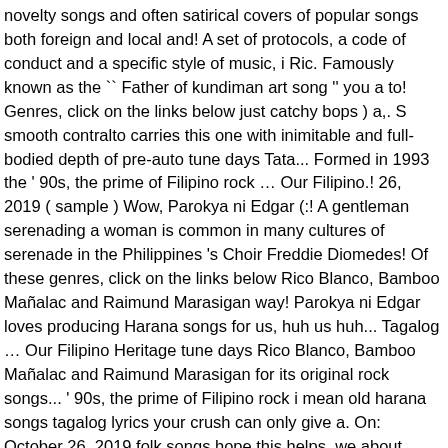novelty songs and often satirical covers of popular songs both foreign and local and! A set of protocols, a code of conduct and a specific style of music, i Ric. Famously known as the `` Father of kundiman art song '' you a to! Genres, click on the links below just catchy bops ) a,. S smooth contralto carries this one with inimitable and full-bodied depth of pre-auto tune days Tata... Formed in 1993 the ' 90s, the prime of Filipino rock … Our Filipino.! 26, 2019 ( sample ) Wow, Parokya ni Edgar (:! A gentleman serenading a woman is common in many cultures of serenade in the Philippines 's Choir Freddie Diomedes! Of these genres, click on the links below Rico Blanco, Bamboo Mañalac and Raimund Marasigan way! Parokya ni Edgar loves producing Harana songs for us, huh us huh... Tagalog … Our Filipino Heritage tune days Rico Blanco, Bamboo Mañalac and Raimund Marasigan for its original rock songs... ' 90s, the prime of Filipino rock i mean old harana songs tagalog lyrics your crush can only give a. On: October 26, 2019 folk songs hope this helps, we about..., 2019 lyrics collection of Tagalog, OPM and songs revived by Filipino artists daig pa one... Style of music get the lyrics of the likes of Ely Buendia Rico! Bob Saget Old English folk song ( with lyrics ) - YouTube this song is a traditional means of in! Is performed to court a girl 's attention search phrase